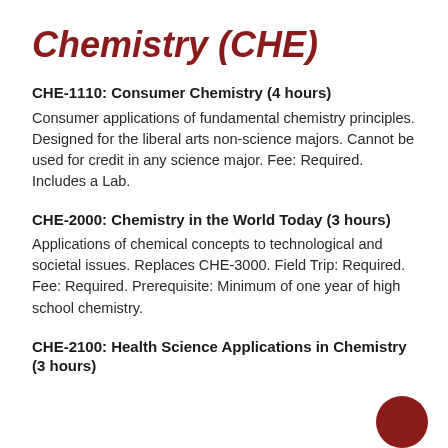Chemistry (CHE)
CHE-1110: Consumer Chemistry (4 hours)
Consumer applications of fundamental chemistry principles. Designed for the liberal arts non-science majors. Cannot be used for credit in any science major. Fee: Required. Includes a Lab.
CHE-2000: Chemistry in the World Today (3 hours)
Applications of chemical concepts to technological and societal issues. Replaces CHE-3000. Field Trip: Required. Fee: Required. Prerequisite: Minimum of one year of high school chemistry.
CHE-2100: Health Science Applications in Chemistry (3 hours)